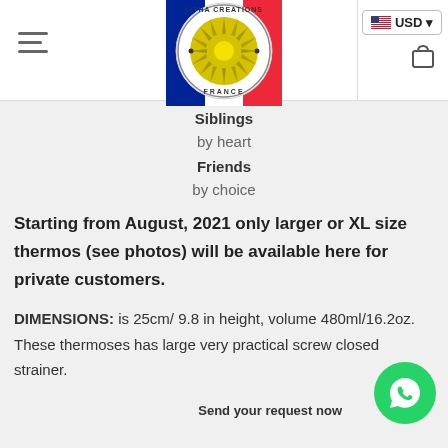Litha Creations France — header with logo, USD selector, hamburger menu, cart icon
Siblings
by heart
Friends
by choice
Starting from August, 2021 only larger or XL size thermos (see photos) will be available here for private customers.
DIMENSIONS: is 25cm/ 9.8 in height, volume 480ml/16.2oz. These thermoses has large very practical screw closed strainer.
[Figure (logo): Litha Creations France circular logo with sun design and French flag colors]
[Figure (other): WhatsApp contact button with 'Send your request now' text]